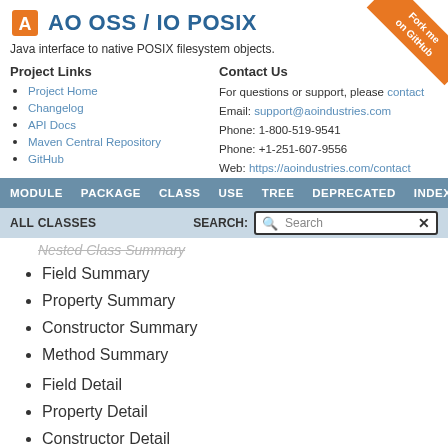AO OSS / IO POSIX
Java interface to native POSIX filesystem objects.
Project Links
Project Home
Changelog
API Docs
Maven Central Repository
GitHub
Contact Us
For questions or support, please contact
Email: support@aoindustries.com
Phone: 1-800-519-9541
Phone: +1-251-607-9556
Web: https://aoindustries.com/contact
[Figure (other): Fork me on GitHub orange ribbon banner in top-right corner]
MODULE  PACKAGE  CLASS  USE  TREE  DEPRECATED  INDEX
ALL CLASSES
Nested Class Summary
Field Summary
Property Summary
Constructor Summary
Method Summary
Field Detail
Property Detail
Constructor Detail
Method Detail
Each summary entry contains the first sentence from the detail description for that item. The more complete description is found in the detail section.